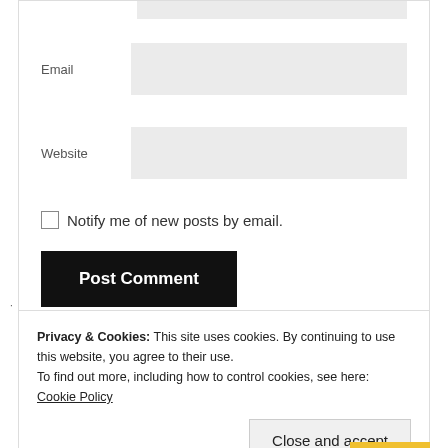[Figure (screenshot): Web form with Email and Website input fields, a checkbox for notifications, and a Post Comment button]
Email
Website
Notify me of new posts by email.
Post Comment
Privacy & Cookies: This site uses cookies. By continuing to use this website, you agree to their use.
To find out more, including how to control cookies, see here: Cookie Policy
Close and accept